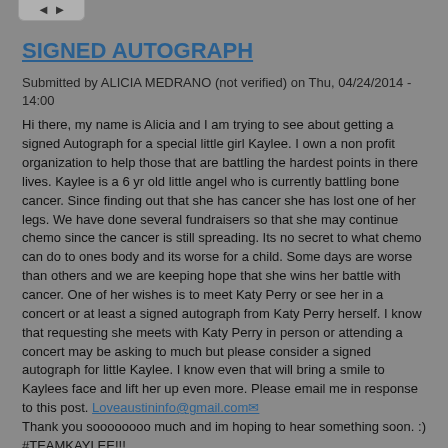SIGNED AUTOGRAPH
Submitted by ALICIA MEDRANO (not verified) on Thu, 04/24/2014 - 14:00
Hi there, my name is Alicia and I am trying to see about getting a signed Autograph for a special little girl Kaylee. I own a non profit organization to help those that are battling the hardest points in there lives. Kaylee is a 6 yr old little angel who is currently battling bone cancer. Since finding out that she has cancer she has lost one of her legs. We have done several fundraisers so that she may continue chemo since the cancer is still spreading. Its no secret to what chemo can do to ones body and its worse for a child. Some days are worse than others and we are keeping hope that she wins her battle with cancer. One of her wishes is to meet Katy Perry or see her in a concert or at least a signed autograph from Katy Perry herself. I know that requesting she meets with Katy Perry in person or attending a concert may be asking to much but please consider a signed autograph for little Kaylee. I know even that will bring a smile to Kaylees face and lift her up even more. Please email me in response to this post. Loveaustininfo@gmail.com
Thank you soooooooo much and im hoping to hear something soon. :)
#TEAMKAYLEE!!!